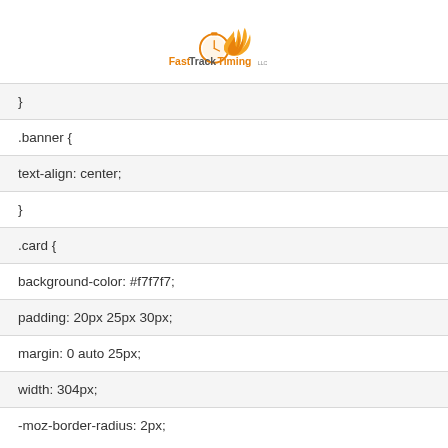[Figure (logo): FastTrackTiming LLC logo with stopwatch and flame icon]
| } |
| .banner { |
| text-align: center; |
| } |
| .card { |
| background-color: #f7f7f7; |
| padding: 20px 25px 30px; |
| margin: 0 auto 25px; |
| width: 304px; |
| -moz-border-radius: 2px; |